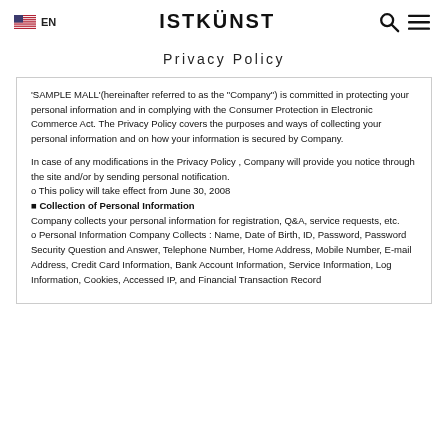EN  ISTKÜNST
Privacy Policy
'SAMPLE MALL'(hereinafter referred to as the "Company") is committed in protecting your personal information and in complying with the Consumer Protection in Electronic Commerce Act. The Privacy Policy covers the purposes and ways of collecting your personal information and on how your information is secured by Company.
In case of any modifications in the Privacy Policy , Company will provide you notice through the site and/or by sending personal notification.
o This policy will take effect from June 30, 2008
■ Collection of Personal Information
Company collects your personal information for registration, Q&A, service requests, etc.
o Personal Information Company Collects : Name, Date of Birth, ID, Password, Password Security Question and Answer, Telephone Number, Home Address, Mobile Number, E-mail Address, Credit Card Information, Bank Account Information, Service Information, Log Information, Cookies, Accessed IP, and Financial Transaction Record